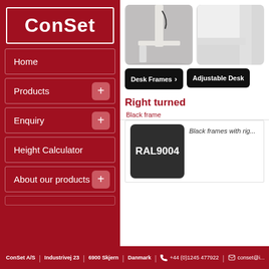ConSet
Home
Products
Enquiry
Height Calculator
About our products
[Figure (photo): Close-up photo of desk frame leg on carpet]
[Figure (photo): Close-up photo of desk frame corner detail]
Desk Frames
Adjustable Desk
Right turned
Black frame
[Figure (illustration): RAL9004 black color swatch]
Black frames with rig...
ConSet A/S | Industrivej 23 | 6900 Skjern | Danmark | +44 (0)1245 477922 | conset@i...